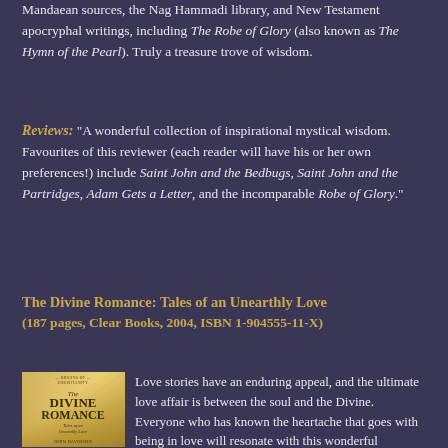Mandaean sources, the Nag Hammadi library, and New Testament apocryphal writings, including The Robe of Glory (also known as The Hymn of the Pearl). Truly a treasure trove of wisdom.
Reviews: "A wonderful collection of inspirational mystical wisdom. Favourites of this reviewer (each reader will have his or her own preferences!) include Saint John and the Bedbugs, Saint John and the Partridges, Adam Gets a Letter, and the incomparable Robe of Glory."
The Divine Romance: Tales of an Unearthly Love (187 pages, Clear Books, 2004, ISBN 1-904555-11-X)
[Figure (illustration): Book cover of The Divine Romance: Tales of an Unearthly Love by John Davidson, with gold/yellow textured background and title text]
Love stories have an enduring appeal, and the ultimate love affair is between the soul and the Divine. Everyone who has known the heartache that goes with being in love will resonate with this wonderful collection of stories from